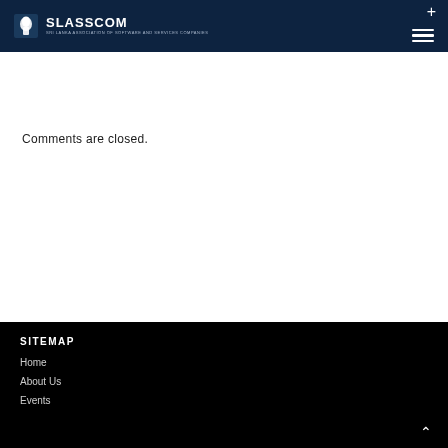SLASSCOM
Comments are closed.
SITEMAP
Home
About Us
Events